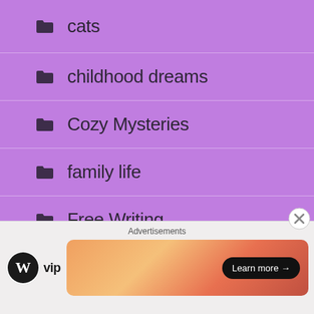cats
childhood dreams
Cozy Mysteries
family life
Free Writing
guest blogger,
inspiration
(partial, cut off)
Advertisements
[Figure (logo): WordPress VIP logo (WP circle + vip text) and an advertisement banner with gradient orange/pink background and 'Learn more →' button]